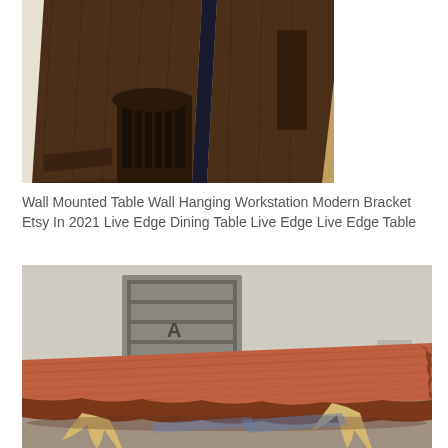[Figure (photo): A live edge dining table with dark wood slabs and a black epoxy river running down the center, viewed from above at an angle. Wooden chairs with slatted backs surround the table. Hardwood floor visible underneath.]
Wall Mounted Table Wall Hanging Workstation Modern Bracket Etsy In 2021 Live Edge Dining Table Live Edge Live Edge Table
[Figure (photo): A large live edge wood slab table with a reddish-brown finish, placed in a workshop or garage setting. The table sits on ornate gold/cream colored legs. Metal shelving unit visible in the background.]